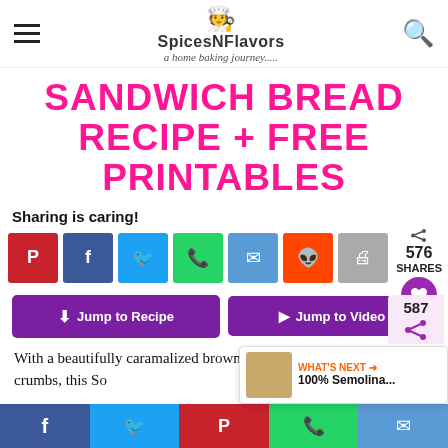SpicesNFlavors – a home baking journey.....
SANDWICH BREAD RECIPE + FREE PRINTABLES
Sharing is caring!
[Figure (infographic): Social sharing buttons: Pinterest, Facebook, Twitter, WhatsApp, Email, Reddit, Print. Share counter showing 576 SHARES and heart button.]
[Figure (infographic): Jump to Recipe and Jump to Video purple buttons]
With a beautifully caramalized brown crust and soft and spongy crumbs, this So
Facebook | Twitter | Pinterest | WhatsApp | Email – bottom sharing bar